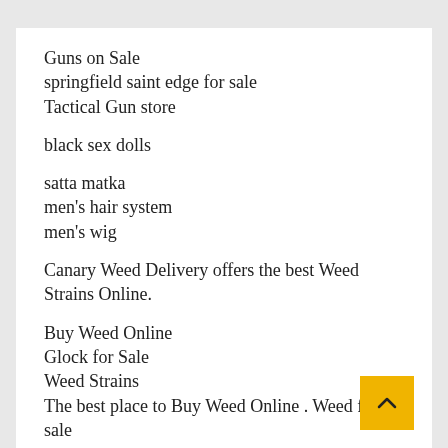Guns on Sale
springfield saint edge for sale
Tactical Gun store
black sex dolls
satta matka
men's hair system
men's wig
Canary Weed Delivery offers the best Weed Strains Online.
Buy Weed Online
Glock for Sale
Weed Strains
The best place to Buy Weed Online . Weed for sale